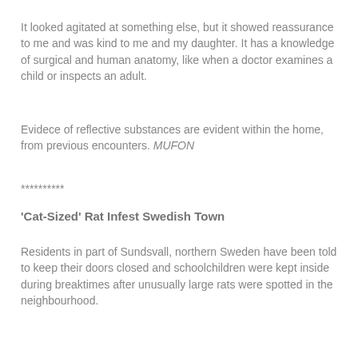It looked agitated at something else, but it showed reassurance to me and was kind to me and my daughter. It has a knowledge of surgical and human anatomy, like when a doctor examines a child or inspects an adult.
Evidece of reflective substances are evident within the home, from previous encounters. MUFON
**********
'Cat-Sized' Rat Infest Swedish Town
Residents in part of Sundsvall, northern Sweden have been told to keep their doors closed and schoolchildren were kept inside during breaktimes after unusually large rats were spotted in the neighbourhood.